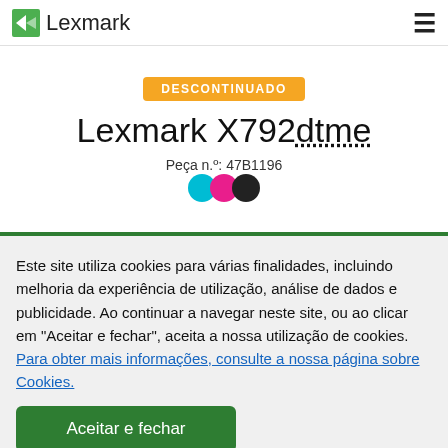Lexmark
DESCONTINUADO
Lexmark X792dtme
Peça n.º: 47B1196
[Figure (illustration): Three overlapping color dots: cyan, magenta, black]
Este site utiliza cookies para várias finalidades, incluindo melhoria da experiência de utilização, análise de dados e publicidade. Ao continuar a navegar neste site, ou ao clicar em "Aceitar e fechar", aceita a nossa utilização de cookies. Para obter mais informações, consulte a nossa página sobre Cookies.
Aceitar e fechar